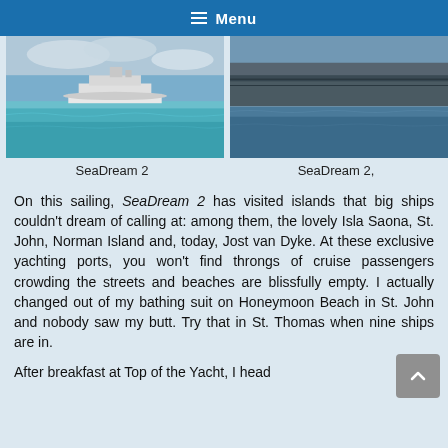Menu
[Figure (photo): Photo of SeaDream 2 cruise ship on turquoise blue water with cloudy sky]
[Figure (photo): Photo of SeaDream 2 cruise ship on blue sea, partial view from side]
SeaDream 2
SeaDream 2,
On this sailing, SeaDream 2 has visited islands that big ships couldn't dream of calling at: among them, the lovely Isla Saona, St. John, Norman Island and, today, Jost van Dyke. At these exclusive yachting ports, you won't find throngs of cruise passengers crowding the streets and beaches are blissfully empty. I actually changed out of my bathing suit on Honeymoon Beach in St. John and nobody saw my butt. Try that in St. Thomas when nine ships are in.
After breakfast at Top of the Yacht, I head